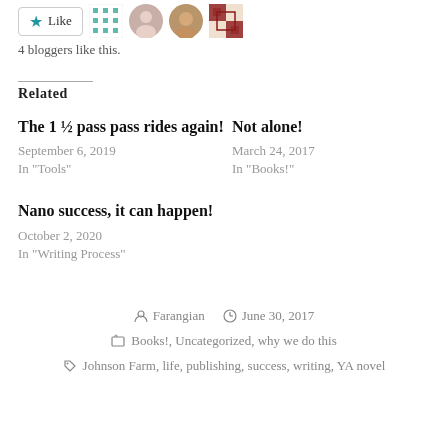[Figure (other): Like button with star icon and four blogger avatar thumbnails]
4 bloggers like this.
Related
The 1 ½ pass pass rides again!
September 6, 2019
In "Tools"
Not alone!
March 24, 2017
In "Books!"
Nano success, it can happen!
October 2, 2020
In "Writing Process"
Farangian   June 30, 2017
Books!, Uncategorized, why we do this
Johnson Farm, life, publishing, success, writing, YA novel